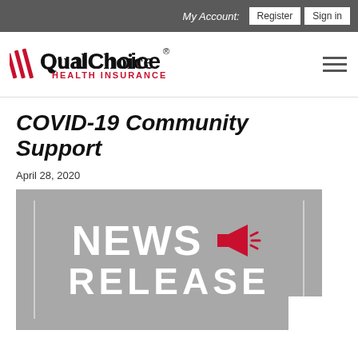My Account: Register | Sign in
[Figure (logo): QualChoice Health Insurance logo with red stylized mark and text]
COVID-19 Community Support
April 28, 2020
[Figure (illustration): News Release banner graphic with grey background, white text reading NEWS RELEASE, and a red megaphone icon with sound lines]